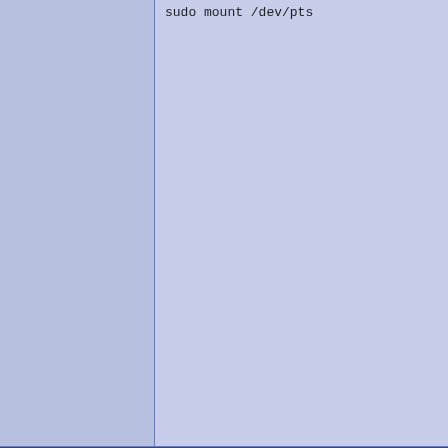C) I appreciate the help from everyone, but...
As a newbie, I may not be entering the commands correctly...
I have searched the forumns, wiki and goo... they show. I'm stymied.
If anyone could take a few minutes to lead... camper. If I can't get this fixed, I can't get u... things I need to do.

So, I really hope someone will offer the sol...
Thanks in advance
Trying to use the terminal I get "error creati...

sudo echo "devpts /dev/pts devpts rw,noex...
sudo mount /dev/pts
01-02-2010, 07:12 AM
Simon Bridge
LQ Guru

Registered: Oct 2003
Location: Waiheke NZ
Distribution: Ubuntu
Continued from another thread

do:

sudo apt-get clean